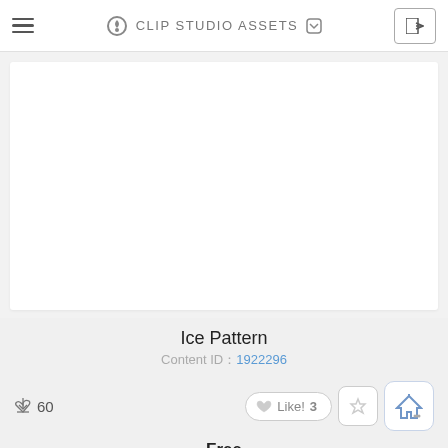CLIP STUDIO ASSETS
[Figure (screenshot): White blank preview area for Ice Pattern asset]
Ice Pattern
Content ID：1922296
60 downloads, Like! 3
Free
Download button (red)